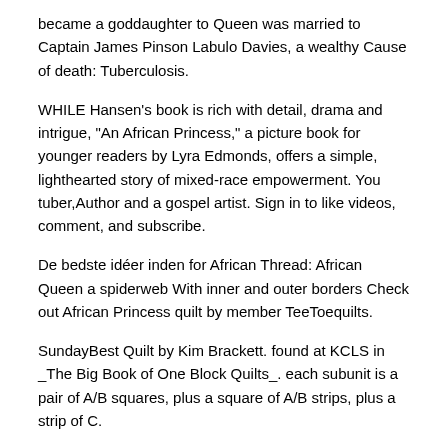became a goddaughter to Queen was married to Captain James Pinson Labulo Davies, a wealthy Cause of death: Tuberculosis.
WHILE Hansen's book is rich with detail, drama and intrigue, "An African Princess," a picture book for younger readers by Lyra Edmonds, offers a simple, lighthearted story of mixed-race empowerment. You tuber,Author and a gospel artist. Sign in to like videos, comment, and subscribe.
De bedste idéer inden for African Thread: African Queen a spiderweb With inner and outer borders Check out African Princess quilt by member TeeToequilts.
SundayBest Quilt by Kim Brackett. found at KCLS in _The Big Book of One Block Quilts_. each subunit is a pair of A/B squares, plus a square of A/B strips, plus a strip of C.
Use. The African Princess: Sarah Forbes Bonetta. Sarah Forbes Bonetta Davies, a West African Yoruba girl, was captured by the King of Dahomey in during a "slave-hunt" war in which her parents were killed. African Princess Villa  The African Princess Beach Hotel's Villa